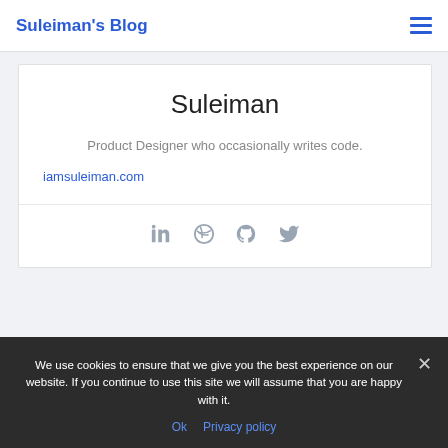Suleiman's Blog
Suleiman
Product Designer who occasionally writes code.
iamsuleiman.com
[Figure (infographic): Social media icons row: LinkedIn, Dribbble, GitHub, Twitter]
We use cookies to ensure that we give you the best experience on our website. If you continue to use this site we will assume that you are happy with it.
Ok   Privacy policy